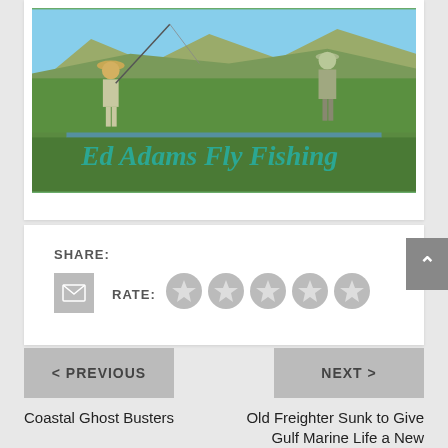[Figure (photo): Two fly fishers wading in a green river/creek with hills in background. Text overlay in teal cursive script reads 'Ed Adams Fly Fishing']
SHARE:
RATE:
< PREVIOUS
NEXT >
Coastal Ghost Busters
Old Freighter Sunk to Give Gulf Marine Life a New Hangout